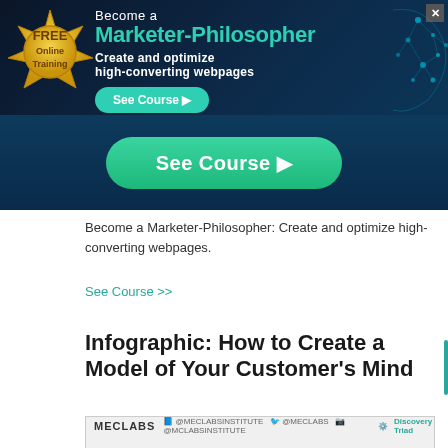[Figure (screenshot): Advertisement banner for 'Become a Marketer-Philosopher: Create and optimize high-converting webpages' online course. Dark navy blue background with cyan network brain graphic on right, gold wax seal badge on left reading FREE Online Training, green See Course button, and large green See Course button in bottom strip.]
Become a Marketer-Philosopher: Create and optimize high-converting webpages.
See Course >>
Infographic: How to Create a Model of Your Customer's Mind
[Figure (infographic): MECLABS infographic preview strip showing logo, social media handles, and 'Discovery Triad' label]